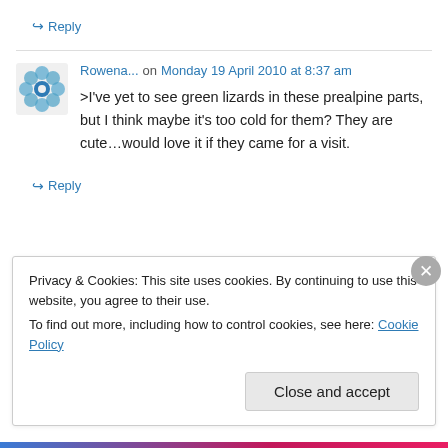↪ Reply
Rowena... on Monday 19 April 2010 at 8:37 am
>I've yet to see green lizards in these prealpine parts, but I think maybe it's too cold for them? They are cute…would love it if they came for a visit.
↪ Reply
Privacy & Cookies: This site uses cookies. By continuing to use this website, you agree to their use. To find out more, including how to control cookies, see here: Cookie Policy
Close and accept